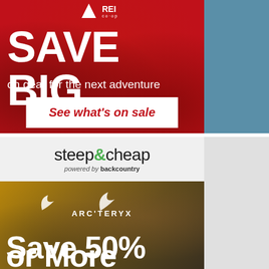[Figure (advertisement): REI Co-op advertisement with red mountain background. Large white text says SAVE BIG, subtext says 'on gear for the next adventure', white CTA button says 'See what's on sale' in red italic text.]
[Figure (advertisement): Steep & Cheap advertisement powered by backcountry. Gray header with logo, below shows Arc'teryx branded outdoor jacket in golden/brown color with text 'ARC'TERYX Save 50% or More'.]